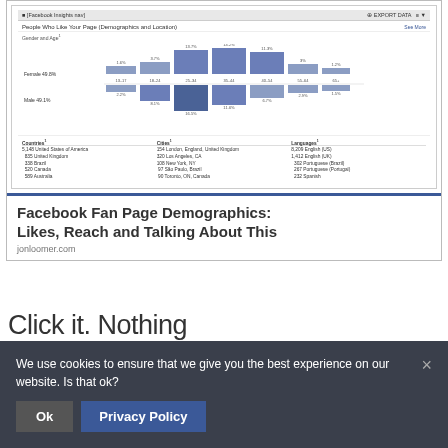[Figure (screenshot): Screenshot of a Facebook Insights page showing 'People Who Like Your Page (Demographics and Location)' with a Gender and Age bar chart (showing female 49.8% and male 49.1% split across age groups 13-17, 18-24, 25-34, 35-44, 45-54, 55-64, 65+), and data tables showing Countries (United States of America 5,148; United Kingdom 835; Brazil 338; Canada 520; Australia 589), Cities (London England United Kingdom 154; Los Angeles CA 320; New York NY 108; Sao Paulo Brazil 97; Toronto ON Canada 90), and Languages (English US 8,209; English UK 1,412; Portuguese Brazil 302; Portuguese Portugal 267; Spanish 232). Below the screenshot is a caption: 'Facebook Fan Page Demographics: Likes, Reach and Talking About This' and URL jonloomer.com]
Click it. Nothing
We use cookies to ensure that we give you the best experience on our website. Is that ok?
Ok
Privacy Policy